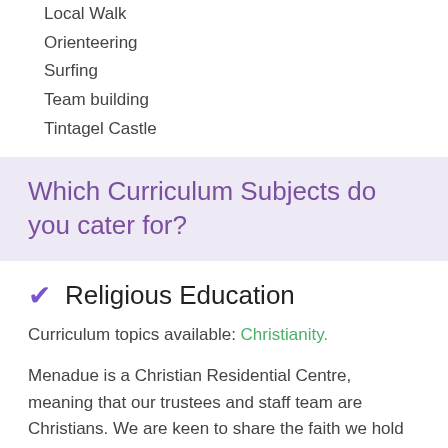Local Walk
Orienteering
Surfing
Team building
Tintagel Castle
Which Curriculum Subjects do you cater for?
Religious Education
Curriculum topics available: Christianity.
Menadue is a Christian Residential Centre, meaning that our trustees and staff team are Christians. We are keen to share the faith we hold with our guests through our actions, our care for the people within Bible-based thoughts for the